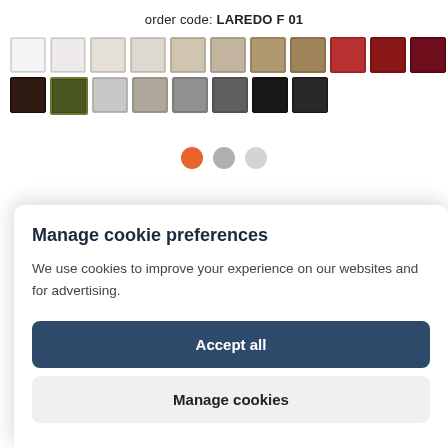order code: LAREDO F 01
[Figure (illustration): Grid of colored tile swatches in two rows: top row has white, off-white, cream, beige, tan, and red/brown tones; bottom row has dark brown, olive green, grays, black tones.]
[Figure (illustration): Three navigation dots: orange (active), medium gray, light gray]
Manage cookie preferences
We use cookies to improve your experience on our websites and for advertising.
Accept all
Manage cookies